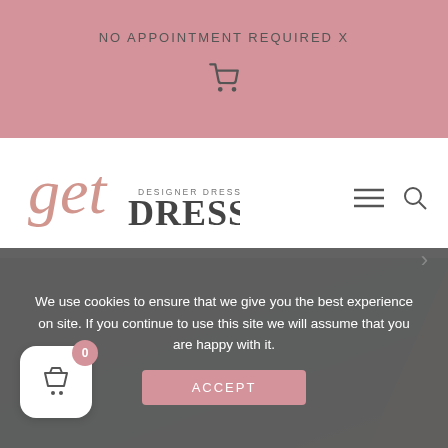NO APPOINTMENT REQUIRED X
[Figure (logo): Get Dressed Designer Dress Hire logo with cursive 'get' and bold 'DRESSED' text]
[Figure (photo): Fashion/dress hire hero image with grey background and geometric triangle element]
We use cookies to ensure that we give you the best experience on site. If you continue to use this site we will assume that you are happy with it.
[Figure (other): ACCEPT button for cookie consent]